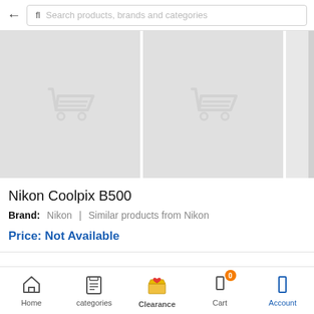[Figure (screenshot): Search bar with back arrow and placeholder text 'Search products, brands and categories']
[Figure (screenshot): Two product image placeholders showing shopping cart icons on gray background]
Nikon Coolpix B500
Brand: Nikon | Similar products from Nikon
Price: Not Available
[Figure (screenshot): Bottom navigation bar with Home, categories, Clearance, Cart (badge: 0), Account]